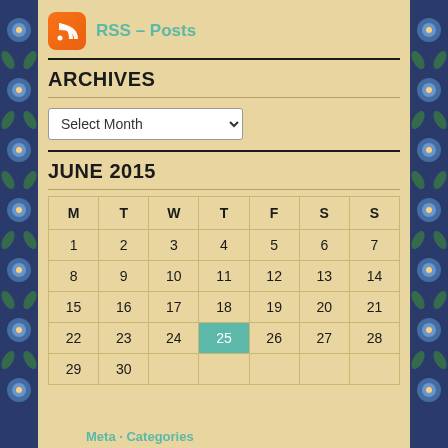[Figure (logo): RSS feed icon - orange rounded square with white RSS symbol]
RSS – Posts
ARCHIVES
Select Month
JUNE 2015
| M | T | W | T | F | S | S |
| --- | --- | --- | --- | --- | --- | --- |
| 1 | 2 | 3 | 4 | 5 | 6 | 7 |
| 8 | 9 | 10 | 11 | 12 | 13 | 14 |
| 15 | 16 | 17 | 18 | 19 | 20 | 21 |
| 22 | 23 | 24 | 25 | 26 | 27 | 28 |
| 29 | 30 |  |  |  |  |  |